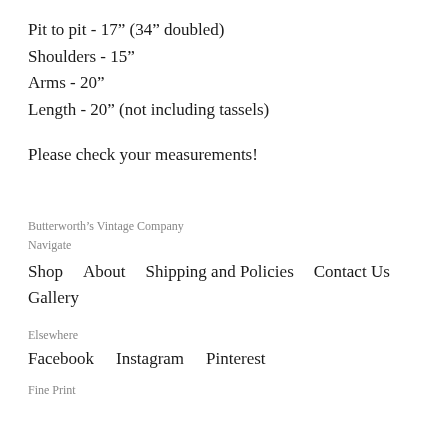Pit to pit - 17” (34” doubled)
Shoulders - 15”
Arms - 20”
Length - 20” (not including tassels)
Please check your measurements!
Butterworth’s Vintage Company
Navigate
Shop    About    Shipping and Policies    Contact Us
Gallery
Elsewhere
Facebook    Instagram    Pinterest
Fine Print